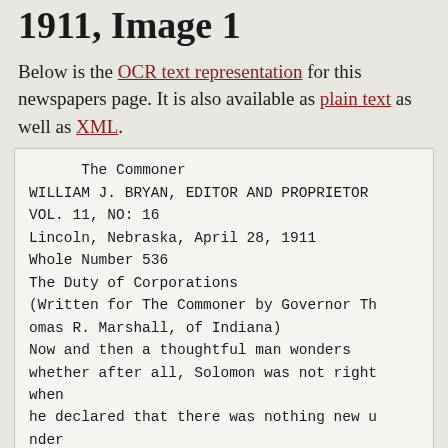1911, Image 1
Below is the OCR text representation for this newspapers page. It is also available as plain text as well as XML.
The Commoner
WILLIAM J. BRYAN, EDITOR AND PROPRIETOR
VOL. 11, NO: 16
Lincoln, Nebraska, April 28, 1911
Whole Number 536
The Duty of Corporations
(Written for The Commoner by Governor Thomas R. Marshall, of Indiana)
Now and then a thoughtful man wonders whether after all, Solomon was not right when
he declared that there was nothing new under